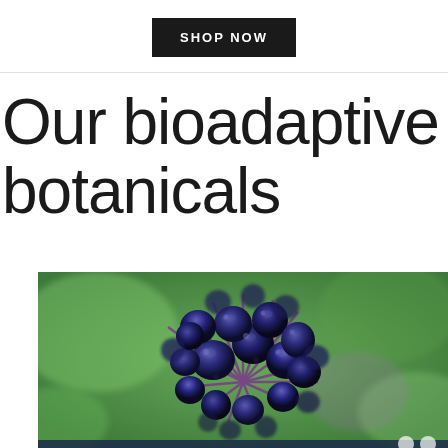SHOP NOW
Our bioadaptive botanicals
[Figure (photo): Close-up photograph of dark blue-purple berries clustered on purple stems, resembling elderberries or allium seed heads, with blurred green foliage in the background.]